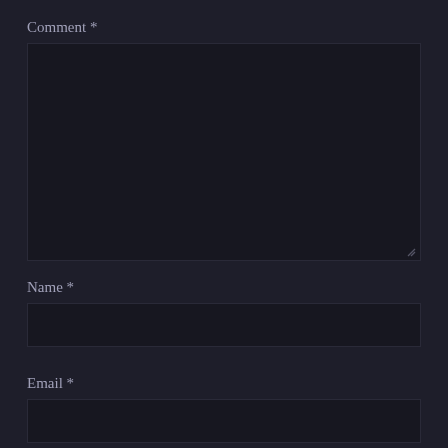Comment *
[Figure (other): Large empty comment textarea with dark background and resize handle in bottom-right corner]
Name *
[Figure (other): Single-line text input field for name with dark background]
Email *
[Figure (other): Single-line text input field for email with dark background, partially visible]